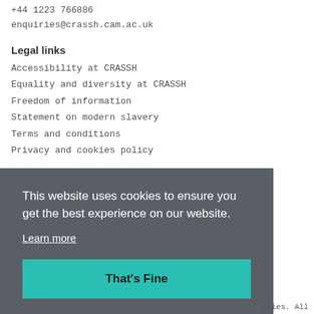+44 1223 766886
enquiries@crassh.cam.ac.uk
Legal links
Accessibility at CRASSH
Equality and diversity at CRASSH
Freedom of information
Statement on modern slavery
Terms and conditions
Privacy and cookies policy
This website uses cookies to ensure you get the best experience on our website.
Learn more
That's Fine
ities. All